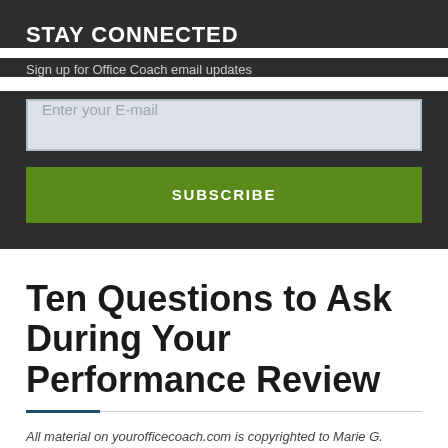STAY CONNECTED
Sign up for Office Coach email updates
Enter your E-mail
SUBSCRIBE
Ten Questions to Ask During Your Performance Review
All material on yourofficecoach.com is copyrighted to Marie G. McIntyre. All rights reserved.
May be reproduced for non-commercial use with copyright and